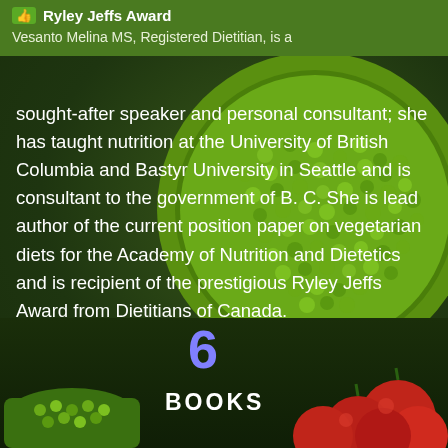Ryley Jeffs Award
Vesanto Melina MS, Registered Dietitian, is a sought-after speaker and personal consultant; she has taught nutrition at the University of British Columbia and Bastyr University in Seattle and is consultant to the government of B. C. She is lead author of the current position paper on vegetarian diets for the Academy of Nutrition and Dietetics and is recipient of the prestigious Ryley Jeffs Award from Dietitians of Canada.
6
BOOKS